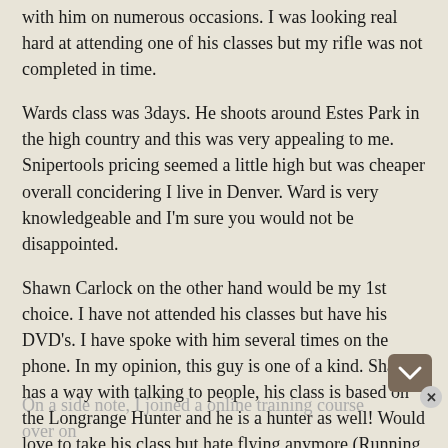with him on numerous occasions. I was looking real hard at attending one of his classes but my rifle was not completed in time.
Wards class was 3days. He shoots around Estes Park in the high country and this was very appealing to me. Snipertools pricing seemed a little high but was cheaper overall concidering I live in Denver. Ward is very knowledgeable and I'm sure you would not be disappointed.
Shawn Carlock on the other hand would be my 1st choice. I have not attended his classes but have his DVD's. I have spoke with him several times on the phone. In my opinion, this guy is one of a kind. Shawn has a way with talking to people, his class is based on the Longrange Hunter and he is a hunter as well! Would love to take his class but hate flying anymore (Running out of fuel in a Supercub in the Chugach mountains will do that to you! 🙂 )
On a side note, I joined a online training course over on